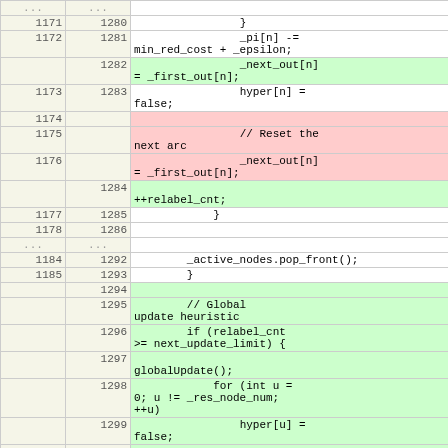| old | new | code |
| --- | --- | --- |
| ... | ... |  |
| 1171 | 1280 | } |
| 1172 | 1281 | _pi[n] -= min_red_cost + _epsilon; |
|  | 1282 | _next_out[n] = _first_out[n]; |
| 1173 | 1283 | hyper[n] = false; |
| 1174 |  |  |
| 1175 |  | // Reset the next arc |
| 1176 |  | _next_out[n] = _first_out[n]; |
|  | 1284 | ++relabel_cnt; |
| 1177 | 1285 | } |
| 1178 | 1286 |  |
| ... | ... |  |
| 1184 | 1292 | _active_nodes.pop_front(); |
| 1185 | 1293 | } |
|  | 1294 |  |
|  | 1295 | // Global update heuristic |
|  | 1296 | if (relabel_cnt >= next_update_limit) { |
|  | 1297 | globalUpdate(); |
|  | 1298 | for (int u = 0; u != _res_node_num; ++u) |
|  | 1299 | hyper[u] = false; |
|  | 1300 |  |